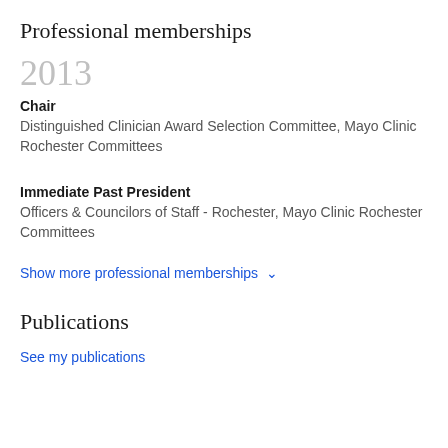Professional memberships
2013
Chair
Distinguished Clinician Award Selection Committee, Mayo Clinic Rochester Committees
Immediate Past President
Officers & Councilors of Staff - Rochester, Mayo Clinic Rochester Committees
Show more professional memberships ∨
Publications
See my publications